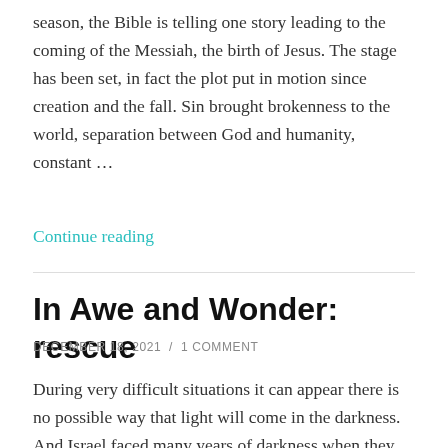season, the Bible is telling one story leading to the coming of the Messiah, the birth of Jesus. The stage has been set, in fact the plot put in motion since creation and the fall. Sin brought brokenness to the world, separation between God and humanity, constant …
Continue reading
In Awe and Wonder: rescue
DECEMBER 18, 2021 / 1 COMMENT
During very difficult situations it can appear there is no possible way that light will come in the darkness. And Israel faced many years of darkness when they were